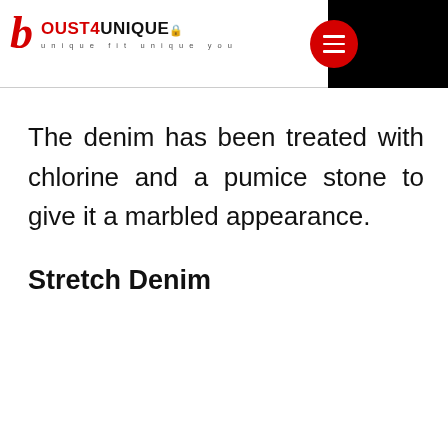[Figure (logo): Just4Unique brand logo with red stylized 'b', text 'JUST4UNIQUE' and tagline 'unique fit unique you', plus a red circle hamburger menu icon]
The denim has been treated with chlorine and a pumice stone to give it a marbled appearance.
Stretch Denim